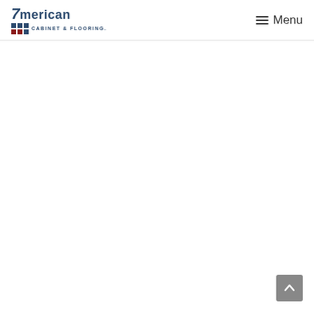American Cabinet & Flooring, Inc. — Menu
[Figure (logo): American Cabinet & Flooring logo with stylized 'A' (shown as '7merican') in dark blue with red and dark square grid icon, and subtitle 'CABINET & FLOORING.']
Back to top button